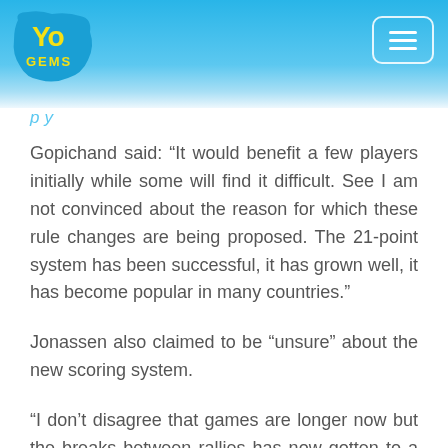Yo Gems [logo] [hamburger menu]
Gopichand said: “It would benefit a few players initially while some will find it difficult. See I am not convinced about the reason for which these rule changes are being proposed. The 21-point system has been successful, it has grown well, it has become popular in many countries.”
Jonassen also claimed to be “unsure” about the new scoring system.
“I don’t disagree that games are longer now but the breaks between rallies has now gotten to a point